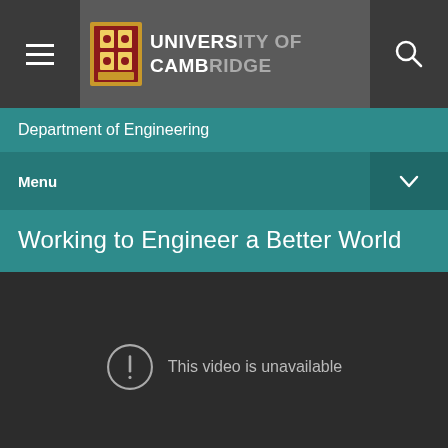UNIVERSITY OF CAMBRIDGE
Department of Engineering
Menu
Working to Engineer a Better World
[Figure (screenshot): Video player showing unavailable video with message: This video is unavailable]